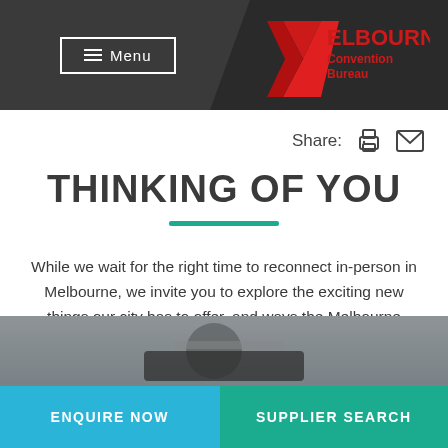Menu | Melbourne Convention Bureau
Share:
THINKING OF YOU
While we wait for the right time to reconnect in-person in Melbourne, we invite you to explore the exciting new things our city has to offer, and ways the Melbourne Convention Bureau is helping business event organisers in holding their events in Melbourne.
[Figure (photo): Partial photo of a person at a laptop or presentation setup, blurred/dark background.]
ENQUIRE NOW
SUPPLIER SEARCH